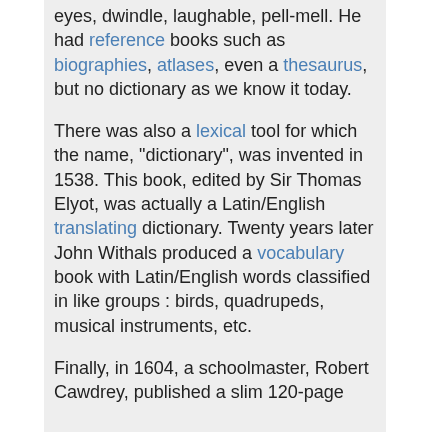eyes, dwindle, laughable, pell-mell. He had reference books such as biographies, atlases, even a thesaurus, but no dictionary as we know it today.
There was also a lexical tool for which the name, "dictionary", was invented in 1538. This book, edited by Sir Thomas Elyot, was actually a Latin/English translating dictionary. Twenty years later John Withals produced a vocabulary book with Latin/English words classified in like groups : birds, quadrupeds, musical instruments, etc.
Finally, in 1604, a schoolmaster, Robert Cawdrey, published a slim 120-page